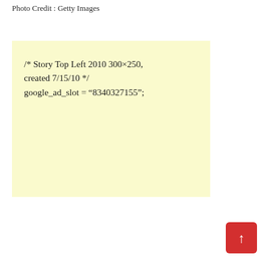Photo Credit : Getty Images
/* Story Top Left 2010 300×250, created 7/15/10 */
google_ad_slot = “8340327155”;
[Figure (other): Red rounded button with upward arrow (scroll-to-top button)]